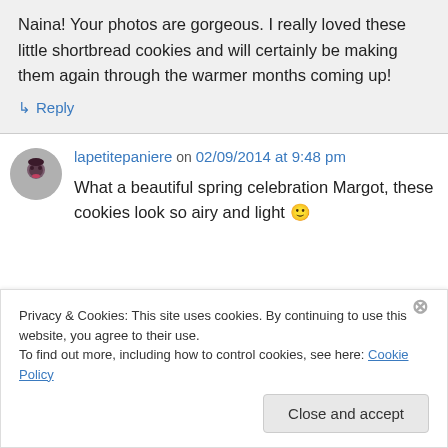Naina! Your photos are gorgeous. I really loved these little shortbread cookies and will certainly be making them again through the warmer months coming up!
↳ Reply
lapetitepaniere on 02/09/2014 at 9:48 pm
What a beautiful spring celebration Margot, these cookies look so airy and light 🙂
Privacy & Cookies: This site uses cookies. By continuing to use this website, you agree to their use.
To find out more, including how to control cookies, see here: Cookie Policy
Close and accept